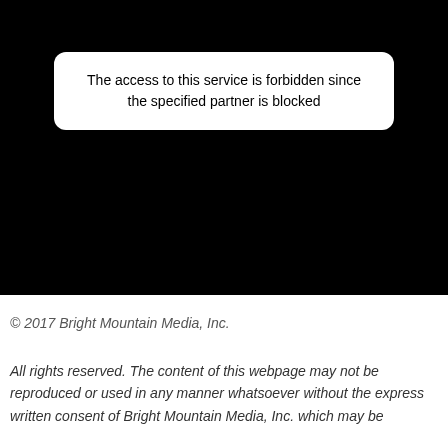[Figure (screenshot): Black background area representing a blocked/forbidden web service page with a white rounded-corner message box in the upper portion displaying an error message.]
The access to this service is forbidden since the specified partner is blocked
© 2017 Bright Mountain Media, Inc.
All rights reserved. The content of this webpage may not be reproduced or used in any manner whatsoever without the express written consent of Bright Mountain Media, Inc. which may be